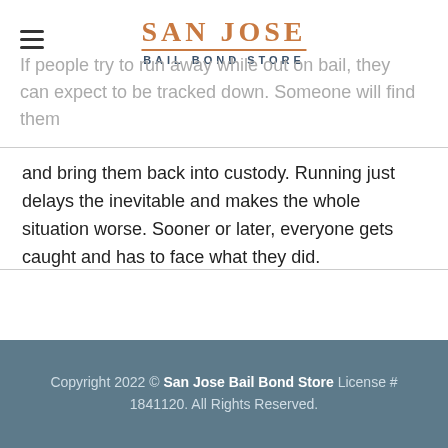SAN JOSE BAIL BOND STORE
If people try to run away while out on bail, they can expect to be tracked down. Someone will find them and bring them back into custody. Running just delays the inevitable and makes the whole situation worse. Sooner or later, everyone gets caught and has to face what they did.
Do you want a free consultation with a professional bail agent? If so, call 408-883-3907 or click Chat With Us now.
Copyright 2022 © San Jose Bail Bond Store License # 1841120. All Rights Reserved.